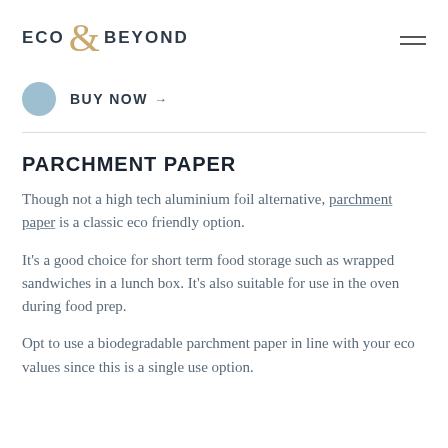ECO & BEYOND
BUY NOW →
PARCHMENT PAPER
Though not a high tech aluminium foil alternative, parchment paper is a classic eco friendly option.
It's a good choice for short term food storage such as wrapped sandwiches in a lunch box. It's also suitable for use in the oven during food prep.
Opt to use a biodegradable parchment paper in line with your eco values since this is a single use option.